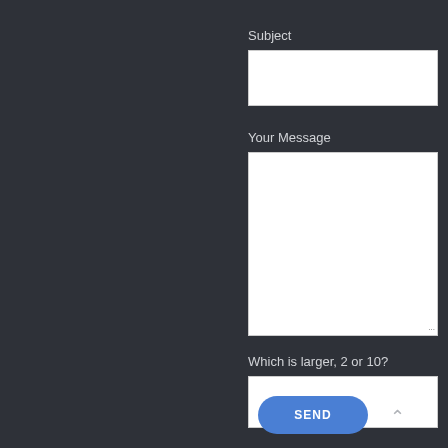Subject
[Figure (screenshot): Empty white text input field for Subject]
Your Message
[Figure (screenshot): Large empty white textarea for Your Message with resize handle]
Which is larger, 2 or 10?
[Figure (screenshot): Empty white text input field for captcha answer]
[Figure (screenshot): Blue rounded SEND button and chevron up arrow]